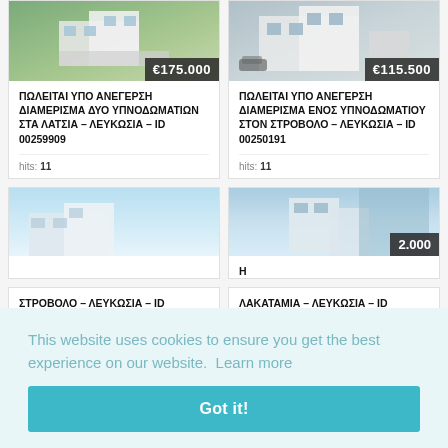[Figure (photo): Property listing card - apartment rendering, price €175.000]
ΠΩΛΕΙΤΑΙ ΥΠΟ ΑΝΕΓΕΡΣΗ ΔΙΑΜΕΡΙΣΜΑ ΔΥΟ ΥΠΝΟΔΩΜΑΤΙΩΝ ΣΤΑ ΛΑΤΣΙΑ – ΛΕΥΚΩΣΙΑ – ID 00259909
hits: 11
[Figure (photo): Property listing card - apartment rendering, price €115.500]
ΠΩΛΕΙΤΑΙ ΥΠΟ ΑΝΕΓΕΡΣΗ ΔΙΑΜΕΡΙΣΜΑ ΕΝΟΣ ΥΠΝΟΔΩΜΑΤΙΟΥ ΣΤΟΝ ΣΤΡΟΒΟΛΟ – ΛΕΥΚΩΣΙΑ – ID 00250191
hits: 11
[Figure (photo): Property listing card - partial view, light blue sky background]
ΣΤΡΟΒΟΛΟ – ΛΕΥΚΩΣΙΑ – ID
[Figure (photo): Property listing card - partial view with price ending in 2.000, Η text visible]
ΛΑΚΑΤΑΜΙΑ – ΛΕΥΚΩΣΙΑ – ID
This website uses cookies to ensure you get the best experience on our website.  Learn more
Got it!